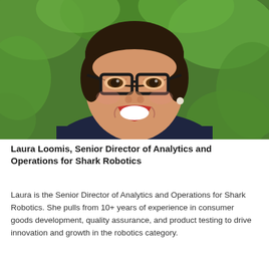[Figure (photo): Headshot of a smiling woman with freckles, glasses with thick black frames, red lipstick, wearing a dark navy blazer, photographed outdoors against a green leafy background.]
Laura Loomis, Senior Director of Analytics and Operations for Shark Robotics
Laura is the Senior Director of Analytics and Operations for Shark Robotics. She pulls from 10+ years of experience in consumer goods development, quality assurance, and product testing to drive innovation and growth in the robotics category.